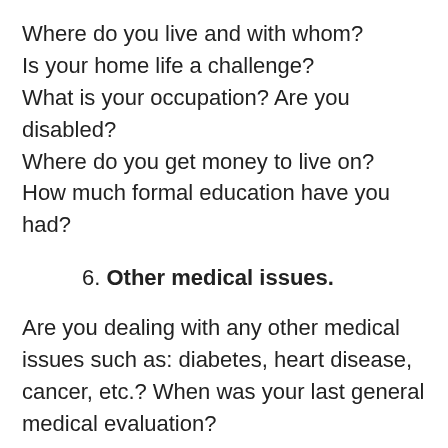Where do you live and with whom?
Is your home life a challenge?
What is your occupation? Are you disabled?
Where do you get money to live on?
How much formal education have you had?
6. Other medical issues.
Are you dealing with any other medical issues such as: diabetes, heart disease, cancer, etc.? When was your last general medical evaluation?
Note: To receive long-term controlled